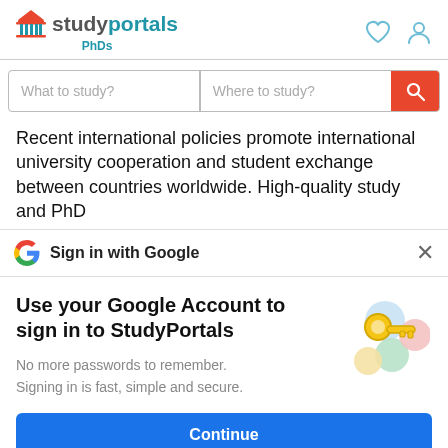studyportals PhDs
What to study?  Where to study?
Recent international policies promote international university cooperation and student exchange between countries worldwide. High-quality study and PhD...
Sign in with Google
Use your Google Account to sign in to StudyPortals
No more passwords to remember. Signing in is fast, simple and secure.
[Figure (illustration): Google account key illustration with colorful circles and a golden key]
Continue